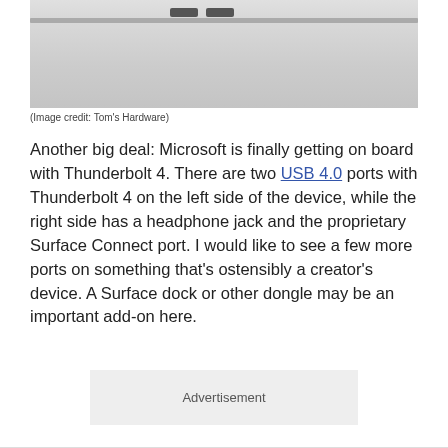[Figure (photo): Close-up photo of a laptop's top edge showing two USB/Thunderbolt ports, on a white/gray surface]
(Image credit: Tom's Hardware)
Another big deal: Microsoft is finally getting on board with Thunderbolt 4. There are two USB 4.0 ports with Thunderbolt 4 on the left side of the device, while the right side has a headphone jack and the proprietary Surface Connect port. I would like to see a few more ports on something that's ostensibly a creator's device. A Surface dock or other dongle may be an important add-on here.
Advertisement